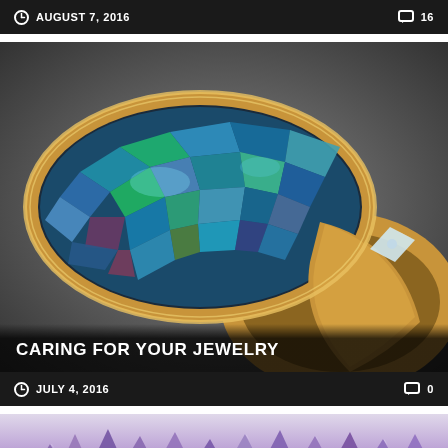AUGUST 7, 2016  |  16
[Figure (photo): Close-up photo of a mosaic opal ring set in gold with diamond accents, showing colorful iridescent opal stones in blue, green, and teal hues]
CARING FOR YOUR JEWELRY
JULY 4, 2016  |  0
[Figure (photo): Partially visible photo of purple amethyst crystals at the bottom of the page]